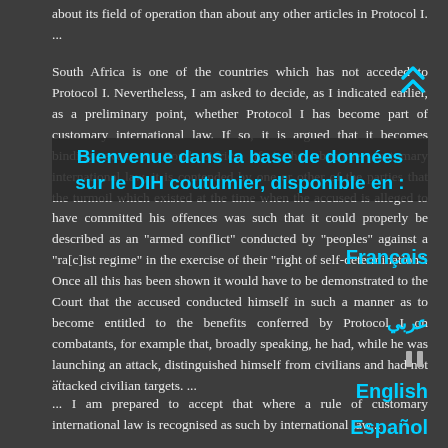about its field of operation than about any other articles in Protocol I. ...
South Africa is one of the countries which has not acceded to Protocol I. Nevertheless, I am asked to decide, as I indicated earlier, as a preliminary point, whether Protocol I has become part of customary international law. If so, it is argued that it becomes binding even on South Africa. If it has become customary international law, it is contended by one or other of the parties that the turmoil which existed at the time when the accused is alleged to have committed his offences was such that it could properly be described as an "armed conflict" conducted by "peoples" against a "ra[c]ist regime" in the exercise of their "right of self-determination". Once all this has been shown it would have to be demonstrated to the Court that the accused conducted himself in such a manner as to become entitled to the benefits conferred by Protocol I on combatants, for example that, broadly speaking, he had, while he was launching an attack, distinguished himself from civilians and had not attacked civilian targets. ...
...
... I am prepared to accept that where a rule of customary international law is recognised as such by international law...